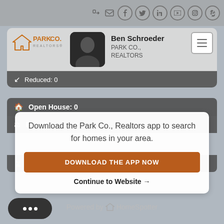[Figure (screenshot): Mobile real estate app screenshot showing Park Co. Realtors agent profile for Ben Schroeder with social media icons, stats (Reduced:0, Open House:0, Foreclosures:0, Short Sales:0), a popup overlay with download app prompt and Continue to Website link, and HomeSpotter powered by footer.]
Ben Schroeder
PARK CO., REALTORS
Reduced: 0
Open House: 0
Download the Park Co., Realtors app to search for homes in your area.
Foreclosures: 0
DOWNLOAD THE APP NOW
Short Sales: 0
Continue to Website →
Powered by HomeSpotter